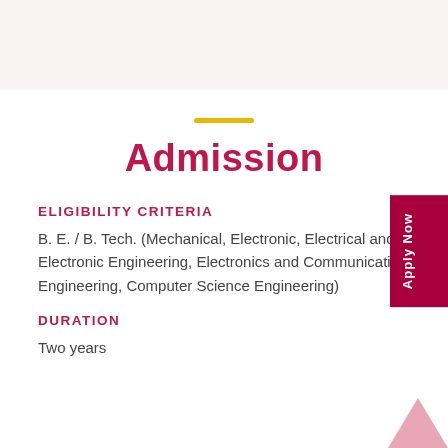Admission
ELIGIBILITY CRITERIA
B. E. / B. Tech. (Mechanical, Electronic, Electrical and Electronic Engineering, Electronics and Communication Engineering, Computer Science Engineering)
DURATION
Two years